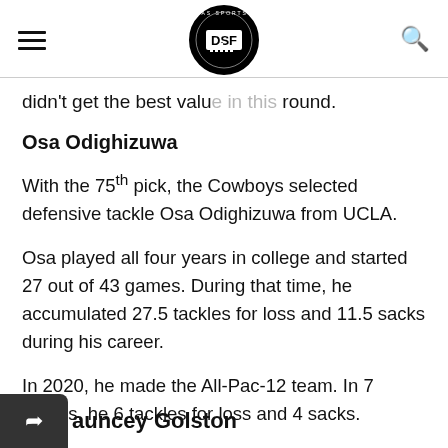[hamburger menu] [DSF Dallas Sports Fan logo] [search icon]
didn't get the best value in this round.
Osa Odighizuwa
With the 75th pick, the Cowboys selected defensive tackle Osa Odighizuwa from UCLA.
Osa played all four years in college and started 27 out of 43 games. During that time, he accumulated 27.5 tackles for loss and 11.5 sacks during his career.
In 2020, he made the All-Pac-12 team. In 7 games, he 6 tackles for loss and 4 sacks.
The drafting of Osa and Quinton Bohanna made the decision to release Antwaun Woods an easy decision.
auncey Golston